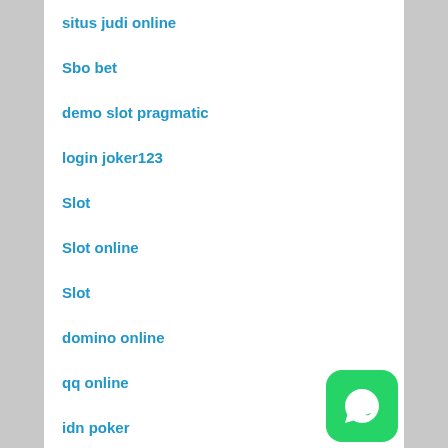situs judi online
Sbo bet
demo slot pragmatic
login joker123
Slot
Slot online
Slot
domino online
qq online
idn poker
[Figure (logo): WhatsApp green button icon at bottom right corner]